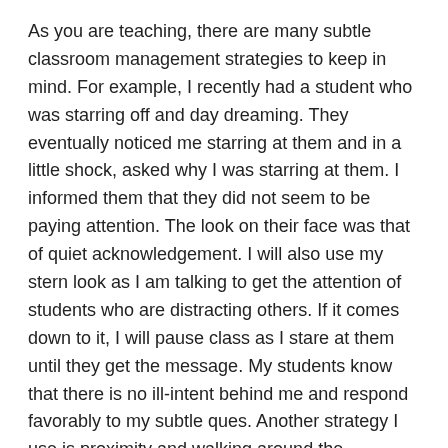As you are teaching, there are many subtle classroom management strategies to keep in mind. For example, I recently had a student who was starring off and day dreaming. They eventually noticed me starring at them and in a little shock, asked why I was starring at them. I informed them that they did not seem to be paying attention. The look on their face was that of quiet acknowledgement. I will also use my stern look as I am talking to get the attention of students who are distracting others. If it comes down to it, I will pause class as I stare at them until they get the message. My students know that there is no ill-intent behind me and respond favorably to my subtle ques. Another strategy I use is proximity and walking around the classroom. Moving about the classroom is especially useful when showing a video. I believe videos should be used as learning tools. This includes frequently pausing them to reiterate the point you are trying to get across. It also means walking around the room to make sure the students are paying attention.
It is also critical that students with IEP's, 504 Plans, and other